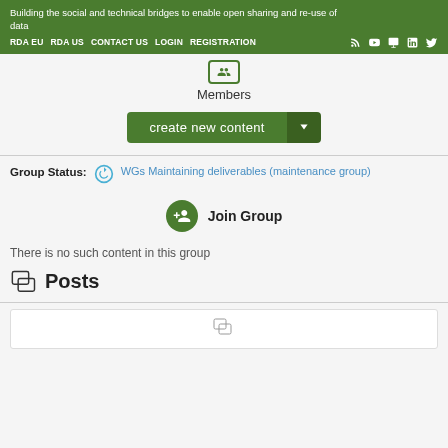Building the social and technical bridges to enable open sharing and re-use of data | RDA EU | RDA US | CONTACT US | LOGIN | REGISTRATION
Members
create new content
Group Status: WGs Maintaining deliverables (maintenance group)
Join Group
There is no such content in this group
Posts